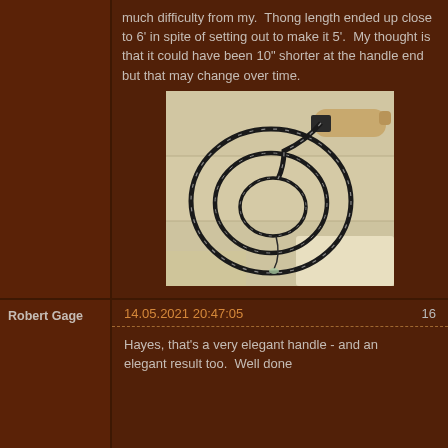much difficulty from my. Thong length ended up close to 6' in spite of setting out to make it 5'. My thought is that it could have been 10" shorter at the handle end but that may change over time.
[Figure (photo): A braided black and white whip coiled in a spiral on a light-colored wooden surface, with a wooden handle visible at the top right.]
Robert Gage
14.05.2021 20:47:05    16
Hayes, that's a very elegant handle - and an